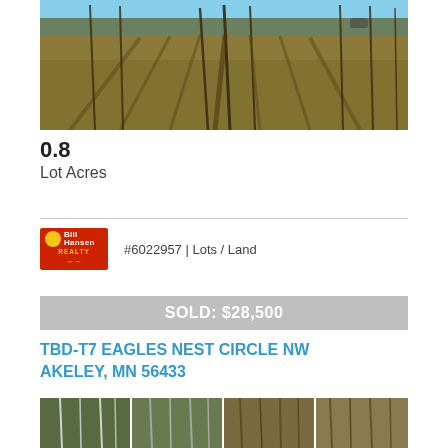[Figure (photo): Outdoor photo of a wooded lot with tall bare trees casting long shadows on dry grass/leaf-covered ground, blue sky visible at top]
0.8
Lot Acres
[Figure (logo): Bill Hansen Realty logo - red background with yellow circle and text]
#6022957 | Lots / Land
SOLD: $28,500
TBD-T7 EAGLES NEST CIRCLE NW
AKELEY, MN 56433
[Figure (photo): Bottom photo showing wooded area with birch and other trees, split into 4 segments]